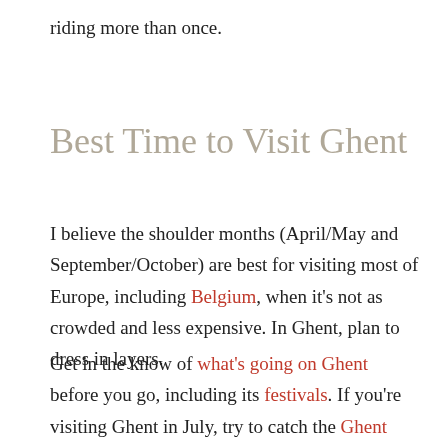riding more than once.
Best Time to Visit Ghent
I believe the shoulder months (April/May and September/October) are best for visiting most of Europe, including Belgium, when it's not as crowded and less expensive. In Ghent, plan to dress in layers.
Get in the know of what's going on Ghent before you go, including its festivals. If you're visiting Ghent in July, try to catch the Ghent Festival. I hear it's amazing fun. If the cold doesn't bother you, try the